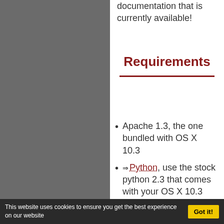documentation that is currently available!
Requirements
Apache 1.3, the one bundled with OS X 10.3
⇒ Python, use the stock python 2.3 that comes with your OS X 10.3 system (in /usr/bin/python)
This website uses cookies to ensure you get the best experience on our website